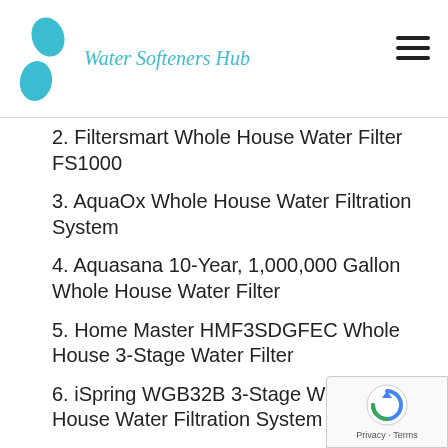Water Softeners Hub
2. Filtersmart Whole House Water Filter FS1000
3. AquaOx Whole House Water Filtration System
4. Aquasana 10-Year, 1,000,000 Gallon Whole House Water Filter
5. Home Master HMF3SDGFEC Whole House 3-Stage Water Filter
6. iSpring WGB32B 3-Stage Whole House Water Filtration System
7. Pentair Pelican Whole House Water Filter System
8. iSpring WGB21B 2-Stage Whole House Water Filter